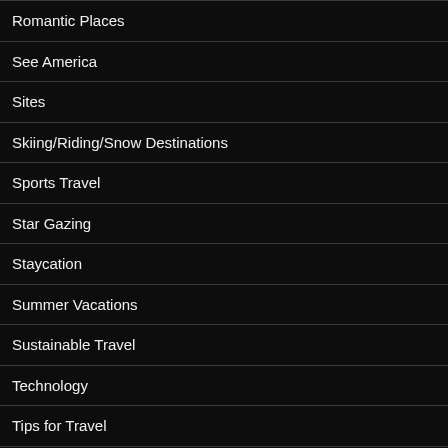Romantic Places
See America
Sites
Skiing/Riding/Snow Destinations
Sports Travel
Star Gazing
Staycation
Summer Vacations
Sustainable Travel
Technology
Tips for Travel
Travel & Tourism Industry